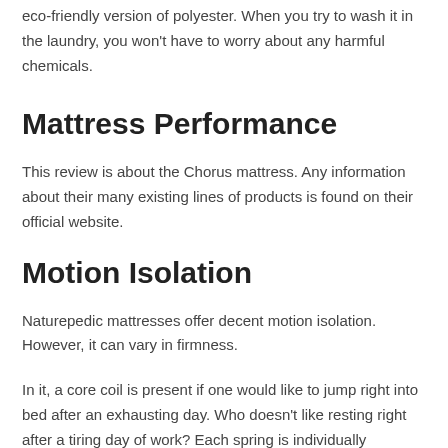eco-friendly version of polyester. When you try to wash it in the laundry, you won't have to worry about any harmful chemicals.
Mattress Performance
This review is about the Chorus mattress. Any information about their many existing lines of products is found on their official website.
Motion Isolation
Naturepedic mattresses offer decent motion isolation. However, it can vary in firmness.
In it, a core coil is present if one would like to jump right into bed after an exhausting day. Who doesn't like resting right after a tiring day of work? Each spring is individually pocketed to limit spread.
Temperature Control